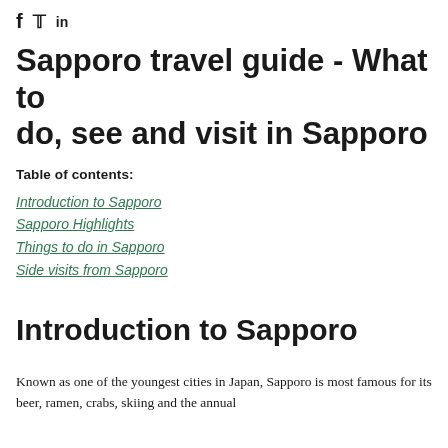f  🐦  in
Sapporo travel guide - What to do, see and visit in Sapporo
Table of contents:
Introduction to Sapporo
Sapporo Highlights
Things to do in Sapporo
Side visits from Sapporo
Introduction to Sapporo
Known as one of the youngest cities in Japan, Sapporo is most famous for its beer, ramen, crabs, skiing and the annual